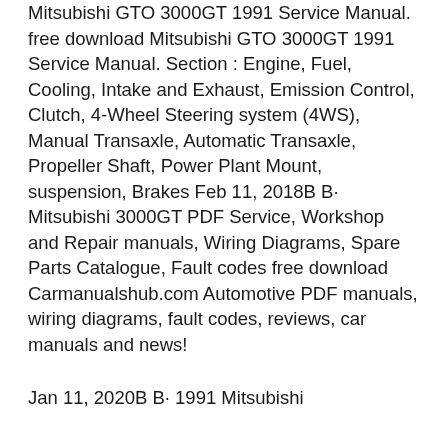Mitsubishi GTO 3000GT 1991 Service Manual. free download Mitsubishi GTO 3000GT 1991 Service Manual. Section : Engine, Fuel, Cooling, Intake and Exhaust, Emission Control, Clutch, 4-Wheel Steering system (4WS), Manual Transaxle, Automatic Transaxle, Propeller Shaft, Power Plant Mount, suspension, Brakes Feb 11, 2018B B· Mitsubishi 3000GT PDF Service, Workshop and Repair manuals, Wiring Diagrams, Spare Parts Catalogue, Fault codes free download Carmanualshub.com Automotive PDF manuals, wiring diagrams, fault codes, reviews, car manuals and news!
Jan 11, 2020B B· 1991 Mitsubishi